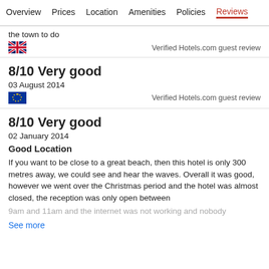Overview  Prices  Location  Amenities  Policies  Reviews
the town to do
🇬🇧 [UK flag]
Verified Hotels.com guest review
8/10 Very good
03 August 2014
🇪🇺 [EU flag]
Verified Hotels.com guest review
8/10 Very good
02 January 2014
Good Location
If you want to be close to a great beach, then this hotel is only 300 metres away, we could see and hear the waves. Overall it was good, however we went over the Christmas period and the hotel was almost closed, the reception was only open between 9am and 11am and the internet was not working and nobody
See more